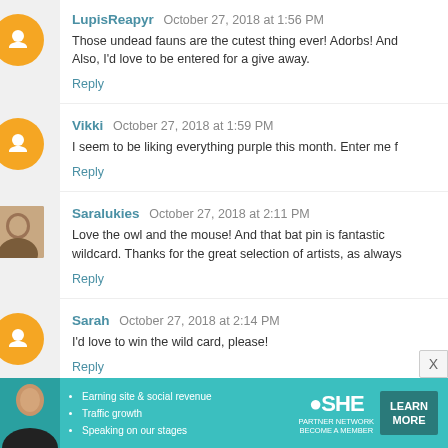LupisReapyr  October 27, 2018 at 1:56 PM
Those undead fauns are the cutest thing ever! Adorbs! And Also, I'd love to be entered for a give away.
Reply
Vikki  October 27, 2018 at 1:59 PM
I seem to be liking everything purple this month. Enter me f
Reply
Saralukies  October 27, 2018 at 2:11 PM
Love the owl and the mouse! And that bat pin is fantastic wildcard. Thanks for the great selection of artists, as always
Reply
Sarah  October 27, 2018 at 2:14 PM
I'd love to win the wild card, please!
Reply
[Figure (infographic): Advertisement banner for SHE Partner Network with bullet points: Earning site & social revenue, Traffic growth, Speaking on our stages. Includes LEARN MORE button.]